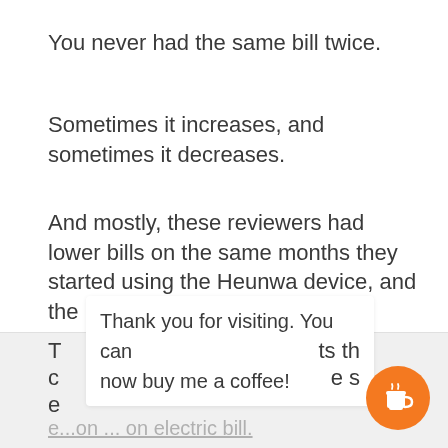You never had the same bill twice.
Sometimes it increases, and sometimes it decreases.
And mostly, these reviewers had lower bills on the same months they started using the Heunwa device, and the lower bill was caused by the change in their behavior, but they mistakenly thought that it was because of the Heunwa power saver.
Thank you for visiting. You can now buy me a coffee!
e...on ... on electric bill.